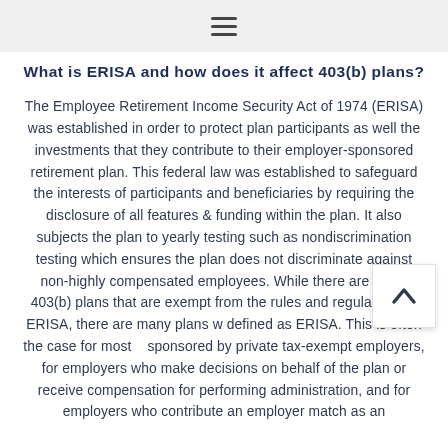≡
What is ERISA and how does it affect 403(b) plans?
The Employee Retirement Income Security Act of 1974 (ERISA) was established in order to protect plan participants as well the investments that they contribute to their employer-sponsored retirement plan. This federal law was established to safeguard the interests of participants and beneficiaries by requiring the disclosure of all features & funding within the plan. It also subjects the plan to yearly testing such as nondiscrimination testing which ensures the plan does not discriminate against non-highly compensated employees. While there are some 403(b) plans that are exempt from the rules and regulations of ERISA, there are many plans w defined as ERISA. This is often the case for most sponsored by private tax-exempt employers, for employers who make decisions on behalf of the plan or receive compensation for performing administration, and for employers who contribute an employer match as an